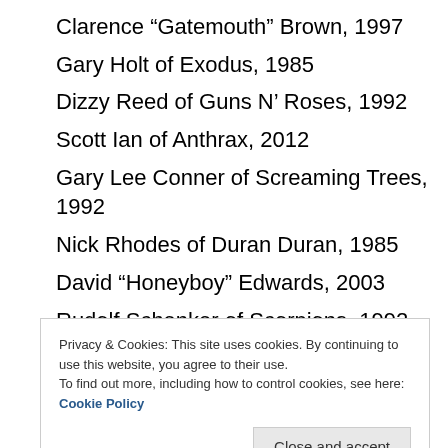Clarence “Gatemouth” Brown, 1997
Gary Holt of Exodus, 1985
Dizzy Reed of Guns N’ Roses, 1992
Scott Ian of Anthrax, 2012
Gary Lee Conner of Screaming Trees, 1992
Nick Rhodes of Duran Duran, 1985
David “Honeyboy” Edwards, 2003
Rudolf Schenker of Scorpions, 1992
Rick Nielsen of Cheap Trick, 2001
Jeff Keith of Tesla, 1988
Privacy & Cookies: This site uses cookies. By continuing to use this website, you agree to their use.
To find out more, including how to control cookies, see here: Cookie Policy
Boys), 1996